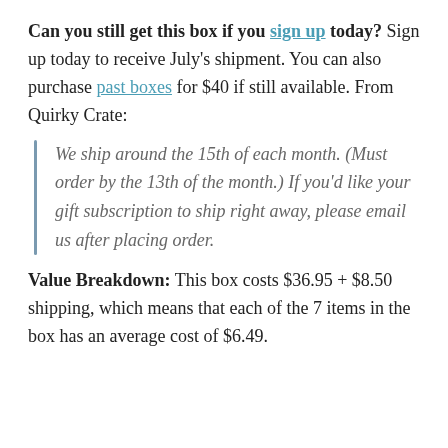Can you still get this box if you sign up today? Sign up today to receive July's shipment. You can also purchase past boxes for $40 if still available. From Quirky Crate:
We ship around the 15th of each month. (Must order by the 13th of the month.) If you'd like your gift subscription to ship right away, please email us after placing order.
Value Breakdown: This box costs $36.95 + $8.50 shipping, which means that each of the 7 items in the box has an average cost of $6.49.